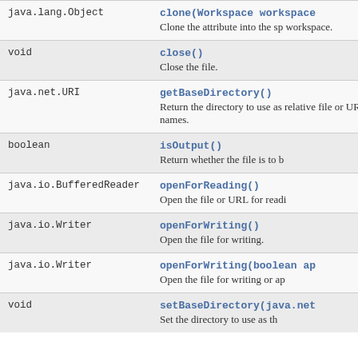| Type | Method and Description |
| --- | --- |
| java.lang.Object | clone(Workspace workspace)
Clone the attribute into the specified workspace. |
| void | close()
Close the file. |
| java.net.URI | getBaseDirectory()
Return the directory to use as the base for relative file or URL names. |
| boolean | isOutput()
Return whether the file is to be... |
| java.io.BufferedReader | openForReading()
Open the file or URL for readi... |
| java.io.Writer | openForWriting()
Open the file for writing. |
| java.io.Writer | openForWriting(boolean ap...
Open the file for writing or ap... |
| void | setBaseDirectory(java.net...
Set the directory to use as th... |